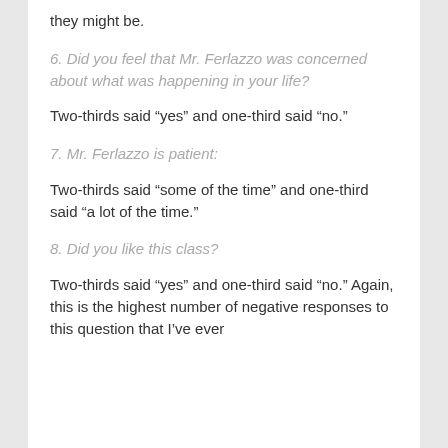they might be.
6. Did you feel that Mr. Ferlazzo was concerned about what was happening in your life?
Two-thirds said “yes” and one-third said “no.”
7. Mr. Ferlazzo is patient:
Two-thirds said “some of the time” and one-third said “a lot of the time.”
8. Did you like this class?
Two-thirds said “yes” and one-third said “no.” Again, this is the highest number of negative responses to this question that I’ve ever